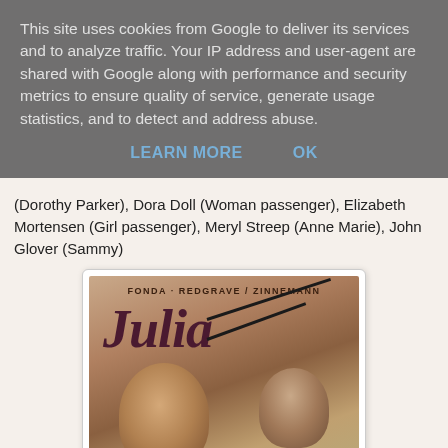This site uses cookies from Google to deliver its services and to analyze traffic. Your IP address and user-agent are shared with Google along with performance and security metrics to ensure quality of service, generate usage statistics, and to detect and address abuse.
LEARN MORE   OK
(Dorothy Parker), Dora Doll (Woman passenger), Elizabeth Mortensen (Girl passenger), Meryl Streep (Anne Marie), John Glover (Sammy)
[Figure (photo): Movie poster for 'Julia' featuring FONDA · REDGRAVE / ZINNEMANN at the top, the title JULIA in large italic text with diagonal slash lines, and two figures/faces at the bottom in a warm sepia tone.]